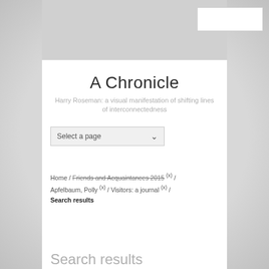A Chronicle
Harry Roseman: a visual manifestation of shifting lines of interconnectedness
Select a page
Home / Friends and Acquaintances 2015 (x) / Apfelbaum, Polly (x) / Visitors: a journal (x) / Search results
Search results